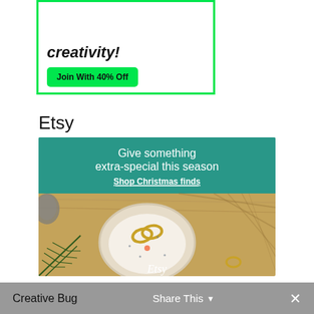[Figure (screenshot): Top advertisement with green border showing 'creativity!' text and a green 'Join With 40% Off' button]
Etsy
[Figure (screenshot): Etsy advertisement banner with teal header reading 'Give something extra-special this season' with 'Shop Christmas finds' link, and product photo of a ceramic jewelry dish with gold rings on wooden background, Etsy logo at bottom]
Creative Bug   Share This ∨   ✕